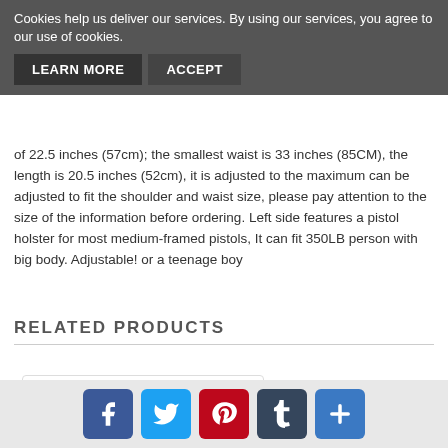Cookies help us deliver our services. By using our services, you agree to our use of cookies.
LEARN MORE   ACCEPT
of 22.5 inches (57cm); the smallest waist is 33 inches (85CM), the length is 20.5 inches (52cm), it is adjusted to the maximum can be adjusted to fit the shoulder and waist size, please pay attention to the size of the information before ordering. Left side features a pistol holster for most medium-framed pistols, It can fit 350LB person with big body. Adjustable! or a teenage boy
RELATED PRODUCTS
[Figure (photo): Black tactical vest product photo shown in related products section]
Facebook  Twitter  Pinterest  Tumblr  Share